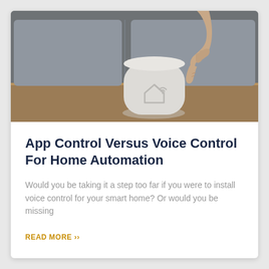[Figure (photo): A hand pointing down at a white smart home hub device with a house/wifi icon embossed on it, sitting on a wooden surface in front of a grey sofa.]
App Control Versus Voice Control For Home Automation
Would you be taking it a step too far if you were to install voice control for your smart home? Or would you be missing
READ MORE ››